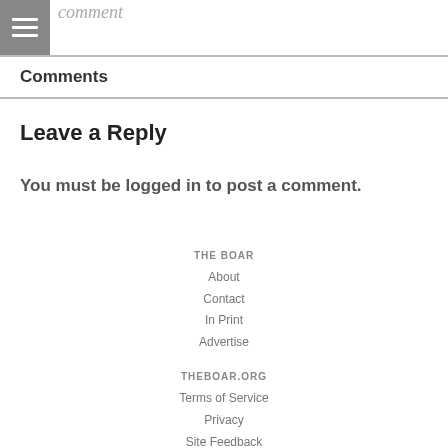comment
Comments
Leave a Reply
You must be logged in to post a comment.
THE BOAR
About
Contact
In Print
Advertise
THEBOAR.ORG
Terms of Service
Privacy
Site Feedback
YOUR ACCOUNT